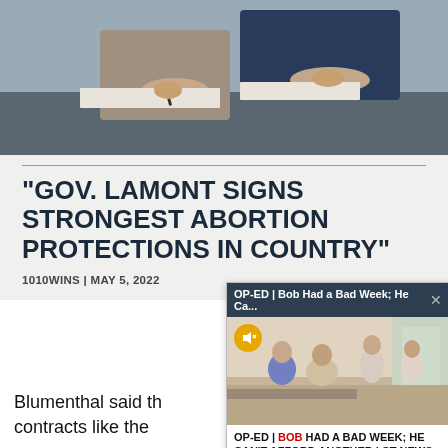[Figure (photo): Two people signing documents at a table, one wearing a dark suit with hands visible holding a pen]
"GOV. LAMONT SIGNS STRONGEST ABORTION PROTECTIONS IN COUNTRY"
1010WINS | MAY 5, 2022
Blumenthal said th contracts like the
[Figure (screenshot): Popup overlay: header reads 'OP-ED | Bob Had a Bad Week; He Ca... X', shows a video thumbnail of people in a room with a mute button overlay, caption reads 'OP-ED | BOB HAD A BAD WEEK; HE CAN'T AFFORD ANOTHER | CT NEWS JUNKIE']